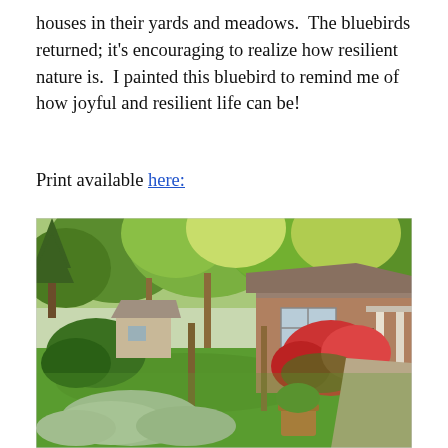houses in their yards and meadows.  The bluebirds returned; it's encouraging to realize how resilient nature is.  I painted this bluebird to remind me of how joyful and resilient life can be!
Print available here:
[Figure (photo): Outdoor spring garden scene with a brick ranch-style house on the right. Lush green trees in the background, red flowering azalea bushes near the house porch, a green lawn, silver-leafed plants and potted container in the foreground, and a pathway leading up the right side.]